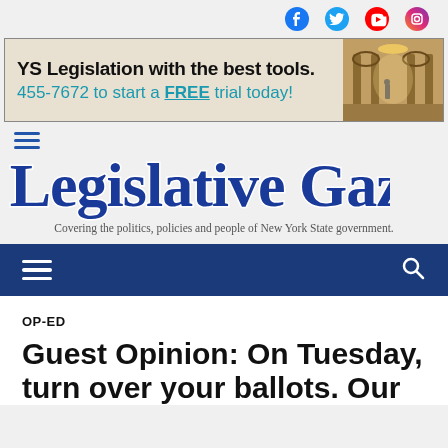[Figure (other): Social media icons: Facebook, Twitter, YouTube, Instagram]
[Figure (other): Advertisement banner: 'YS Legislation with the best tools. 455-7672 to start a FREE trial today!' with image of ornate hallway]
[Figure (logo): The Legislative Gazette masthead logo in blue script font]
Covering the politics, policies and people of New York State government.
[Figure (other): Dark blue navigation bar with hamburger menu icon on left and search icon on right]
OP-ED
Guest Opinion: On Tuesday, turn over your ballots. Our